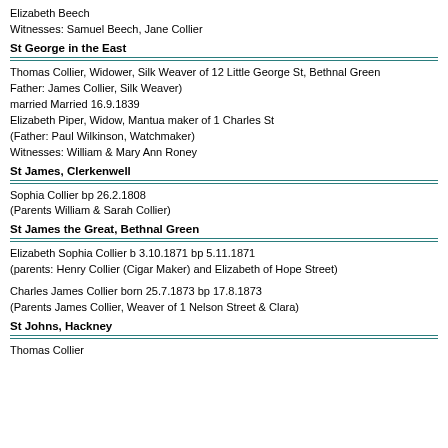Elizabeth Beech
Witnesses: Samuel Beech, Jane Collier
St George in the East
Thomas Collier, Widower, Silk Weaver of 12 Little George St, Bethnal Green
Father: James Collier, Silk Weaver)
married Married 16.9.1839
Elizabeth Piper, Widow, Mantua maker of 1 Charles St
(Father: Paul Wilkinson, Watchmaker)
Witnesses: William & Mary Ann Roney
St James, Clerkenwell
Sophia Collier bp 26.2.1808
(Parents William & Sarah Collier)
St James the Great, Bethnal Green
Elizabeth Sophia Collier b 3.10.1871 bp 5.11.1871
(parents: Henry Collier (Cigar Maker) and Elizabeth of Hope Street)
Charles James Collier born 25.7.1873 bp 17.8.1873
(Parents James Collier, Weaver of 1 Nelson Street & Clara)
St Johns, Hackney
Thomas Collier